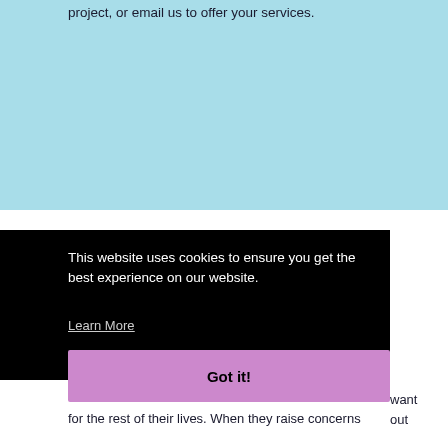project, or email us to offer your services.
This website uses cookies to ensure you get the best experience on our website.
Learn More
Got it!
want
out
for the rest of their lives. When they raise concerns